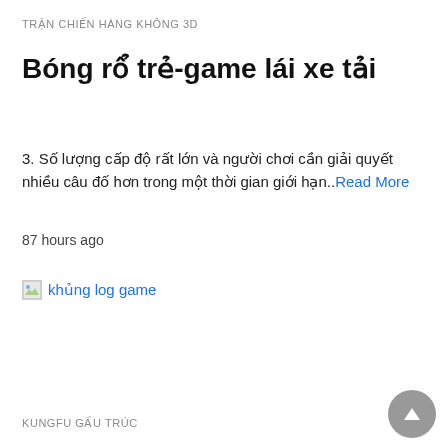TRẬN CHIẾN HÀNG KHÔNG 3D
Bóng rổ trẻ-game lái xe tải
3. Số lượng cấp độ rất lớn và người chơi cần giải quyết nhiều câu đố hơn trong một thời gian giới hạn..Read More
87 hours ago
[Figure (illustration): Broken image link labeled 'khủng log game']
KUNGFU GẤU TRÚC